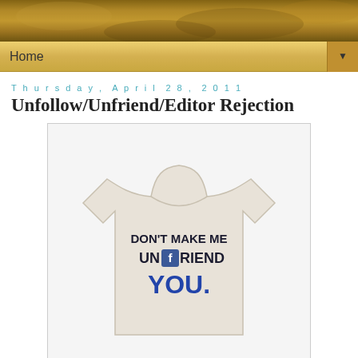Home
Thursday, April 28, 2011
Unfollow/Unfriend/Editor Rejection
[Figure (photo): A white t-shirt with text reading: DON'T MAKE ME UNFRIEND YOU. where the 'f' in UNFRIEND is represented by the Facebook logo icon.]
Ever look at your followers or friends list and find there are less than the last time you checked?
Do you wonder how that happened? While...